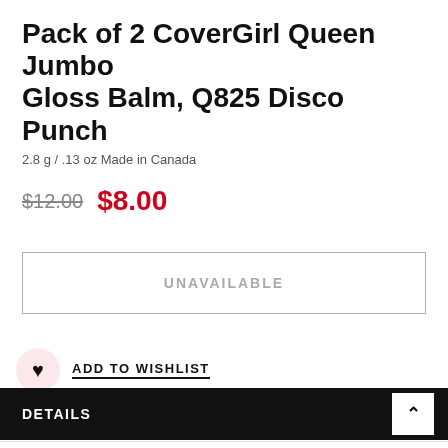Pack of 2 CoverGirl Queen Jumbo Gloss Balm, Q825 Disco Punch
2.8 g / .13 oz Made in Canada
$12.00  $8.00
UNAVAILABLE
ADD TO WISHLIST
DETAILS
SHIPPING & RETURNS
CUSTOMER REVIEWS